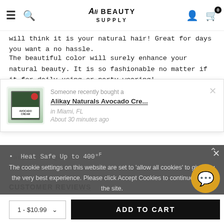Alé Beauty Supply — navigation header with hamburger, search, logo, account, cart (0)
will think it is your natural hair! Great for days you want a no hassle.
The beautiful color will surely enhance your natural beauty. It is so fashionable no matter if it for daily using or party wearing!
[Figure (screenshot): Recently bought popup: product image of Alikay Naturals Avocado Cream, text 'Someone recently bought a', product name 'Alikay Naturals Avocado Cre...', 'in Miami, FL', 'About 30 minutes ago', with X close button]
Heat Safe Up to 400°F
Sample Image Gal
The cookie settings on this website are set to 'allow all cookies' to give you the very best experience. Please click Accept Cookies to continue to use the site.
ACCEPT COOKIES    PRIVACY POLICY
CUSTOMER REVIEWS
1 - $10.99 ∨     ADD TO CART